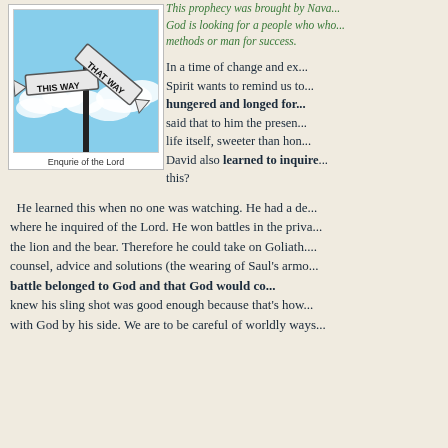This prophecy was brought by Nava... God is looking for a people who who... methods or man for success.
[Figure (photo): Road sign with two arms pointing in opposite directions, reading 'THIS WAY' and 'THAT WAY', against a blue sky with clouds.]
Enqurie of the Lord
In a time of change and ex... Spirit wants to remind us to... hungered and longed for... said that to him the presen... life itself, sweeter than hon... David also learned to inquire... this?
He learned this when no one was watching. He had a de... where he inquired of the Lord. He won battles in the priva... the lion and the bear. Therefore he could take on Goliath.... counsel, advice and solutions (the wearing of Saul's armo... battle belonged to God and that God would co... knew his sling shot was good enough because that's how... with God by his side. We are to be careful of worldly ways...